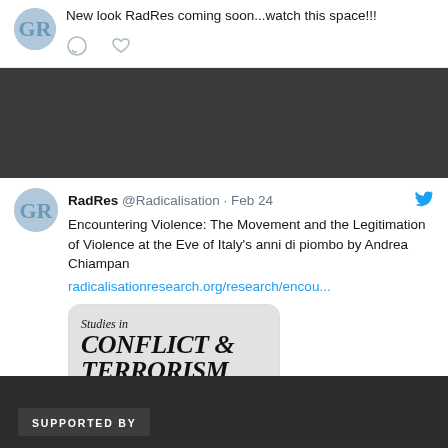New look RadRes coming soon...watch this space!!!
[Figure (screenshot): Tweet icons: comment bubble and heart]
[Figure (screenshot): Second tweet from RadRes @Radicalisation Feb 24 with Twitter bird icon]
RadRes @Radicalisation · Feb 24
Encountering Violence: The Movement and the Legitimation of Violence at the Eve of Italy's anni di piombo by Andrea Chiampan
radicalisationresearch.org/research/encou...
[Figure (logo): Studies in CONFLICT & TERRORISM journal cover image with red wave at bottom]
SUPPORTED BY